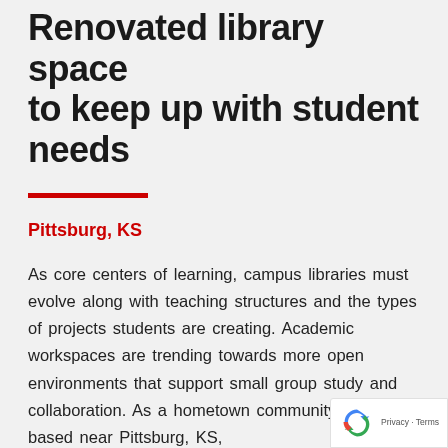Renovated library space to keep up with student needs
Pittsburg, KS
As core centers of learning, campus libraries must evolve along with teaching structures and the types of projects students are creating. Academic workspaces are trending towards more open environments that support small group study and collaboration. As a hometown community builder based near Pittsburg, KS,